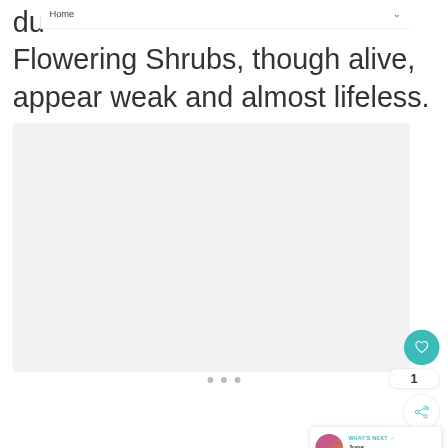Home
Flowering Shrubs, though alive, appear weak and almost lifeless.
[Figure (photo): Large light gray rectangular image area (photo loading placeholder) with three small gray dots below indicating a carousel]
[Figure (infographic): UI overlay elements: teal heart/like button (count: 1), share button, and a 'WHAT'S NEXT' card showing 'June Perennial...' with a circular thumbnail of pink flowers]